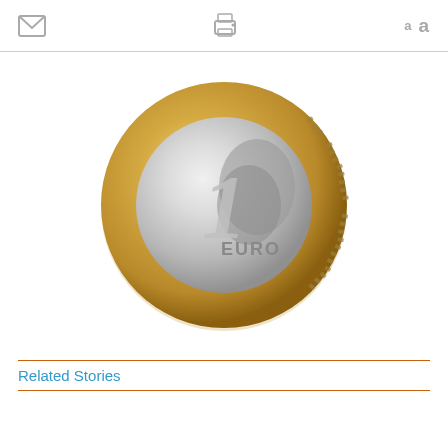[email icon] [print icon] a A
[Figure (photo): A 1 Euro coin showing the common side with the numeral 1 and a map of Europe, with a gold-colored outer ring and silver inner section. The word EURO is visible on the coin face.]
Related Stories